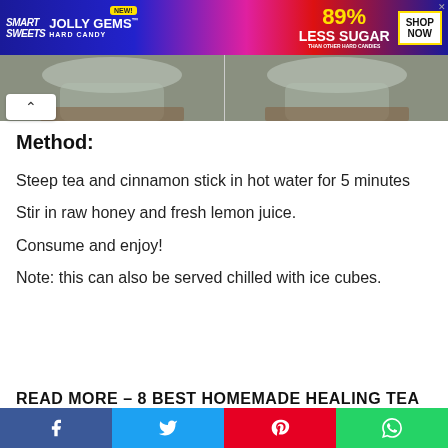[Figure (photo): Advertisement banner for Smart Sweets Jolly Gems Hard Candy showing 89% Less Sugar than other hard candies with Shop Now button]
[Figure (photo): Two side-by-side photos of a glass with ice cubes on a wooden surface]
Method:
Steep tea and cinnamon stick in hot water for 5 minutes
Stir in raw honey and fresh lemon juice.
Consume and enjoy!
Note: this can also be served chilled with ice cubes.
READ MORE – 8 BEST HOMEMADE HEALING TEA
Facebook  Twitter  Pinterest  WhatsApp